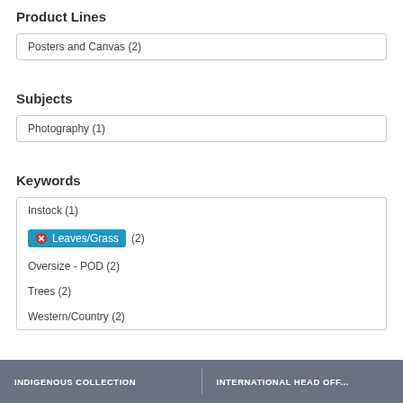Product Lines
Posters and Canvas (2)
Subjects
Photography (1)
Keywords
Instock (1)
Leaves/Grass (2)
Oversize - POD (2)
Trees (2)
Western/Country (2)
Release Dates
Posters & Canvas-2019 Summer (2)
INDIGENOUS COLLECTION | INTERNATIONAL HEAD OFF...